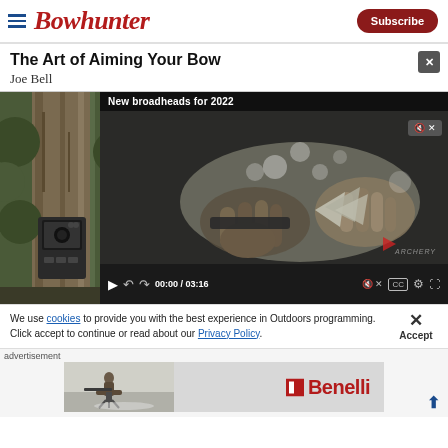Bowhunter | Subscribe
The Art of Aiming Your Bow
Joe Bell
[Figure (screenshot): Video player overlay showing 'New broadheads for 2022' with hands holding broadhead, video controls showing 00:00 / 03:16]
[Figure (photo): Trail camera mounted on tree in forest setting]
We use cookies to provide you with the best experience in Outdoors programming. Click accept to continue or read about our Privacy Policy.
[Figure (screenshot): Benelli advertisement banner showing person on a platform and Benelli logo]